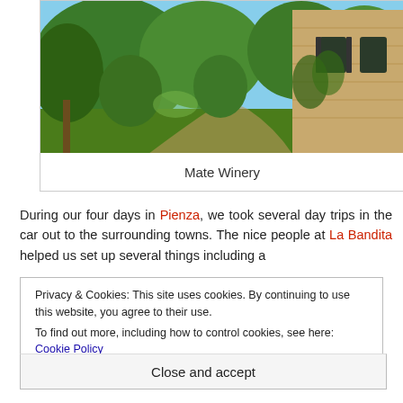[Figure (photo): Exterior view of a stone building (Mate Winery) surrounded by green trees and garden in Tuscany Italy]
Mate Winery
During our four days in Pienza, we took several day trips in the car out to the surrounding towns. The nice people at La Bandita helped us set up several things including a
Privacy & Cookies: This site uses cookies. By continuing to use this website, you agree to their use.
To find out more, including how to control cookies, see here: Cookie Policy
Close and accept
Sauvignon, Merlot and Syrah grapes on their 15 acres. The